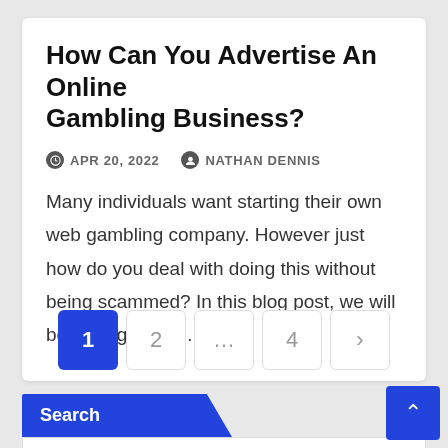How Can You Advertise An Online Gambling Business?
APR 20, 2022   NATHAN DENNIS
Many individuals want starting their own web gambling company. However just how do you deal with doing this without being scammed? In this blog post, we will be talking about…
1  2  ...  4  >
Search